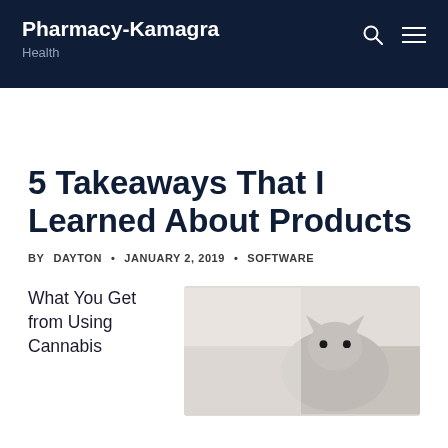Pharmacy-Kamagra
Health
5 Takeaways That I Learned About Products
BY DAYTON • JANUARY 2, 2019 • SOFTWARE
What You Get from Using Cannabis
[Figure (photo): A cat being held, light background, partial view]